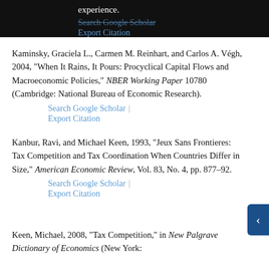experience.
Search Google Scholar | Export Citation
Kaminsky, Graciela L., Carmen M. Reinhart, and Carlos A. Végh, 2004, "When It Rains, It Pours: Procyclical Capital Flows and Macroeconomic Policies," NBER Working Paper 10780 (Cambridge: National Bureau of Economic Research).
Search Google Scholar | Export Citation
Kanbur, Ravi, and Michael Keen, 1993, "Jeux Sans Frontieres: Tax Competition and Tax Coordination When Countries Differ in Size," American Economic Review, Vol. 83, No. 4, pp. 877–92.
Search Google Scholar | Export Citation
Keen, Michael, 2008, "Tax Competition," in New Palgrave Dictionary of Economics (New York: